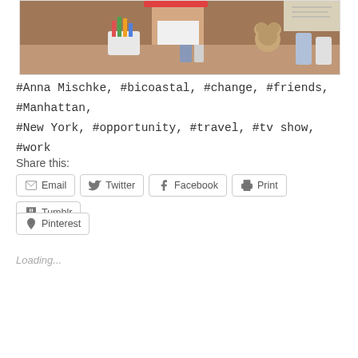[Figure (photo): A bathroom scene photo showing a person's lower body in white shorts standing in front of a mirror, with various bathroom items like toiletries, a teddy bear, and cosmetics visible on the counter]
#Anna Mischke, #bicoastal, #change, #friends, #Manhattan, #New York, #opportunity, #travel, #tv show, #work
Share this:
Email Twitter Facebook Print Tumblr Pinterest
Loading...